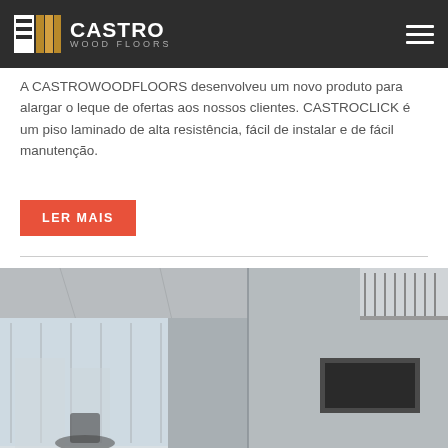CASTRO WOOD FLOORS
A CASTROWOODFLOORS desenvolveu um novo produto para alargar o leque de ofertas aos nossos clientes. CASTROCLICK é um piso laminado de alta resistência, fácil de instalar e de fácil manutenção.
LER MAIS
[Figure (photo): Interior architectural photo showing a modern room with concrete ceiling, large floor-to-ceiling windows on the left, white walls, a dark TV/fireplace unit on the right wall, and upper floor railing visible in the top right corner. The room has a minimalist design with grey tones.]